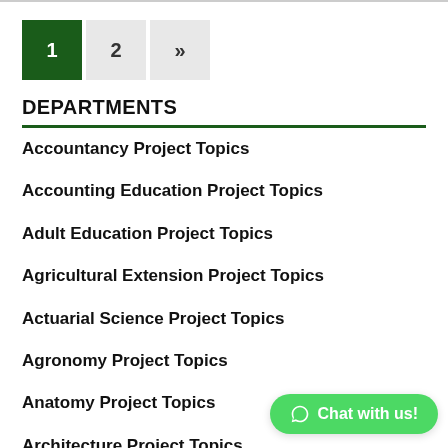[Figure (other): Pagination controls showing page 1 (active, dark green), page 2, and next arrow (»)]
DEPARTMENTS
Accountancy Project Topics
Accounting Education Project Topics
Adult Education Project Topics
Agricultural Extension Project Topics
Actuarial Science Project Topics
Agronomy Project Topics
Anatomy Project Topics
Architecture Project Topics